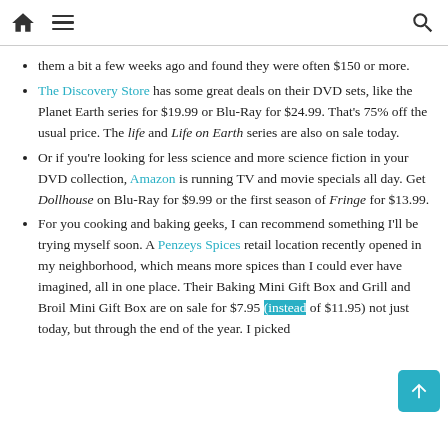[Home icon] [Hamburger menu] [Search icon]
them a bit a few weeks ago and found they were often $150 or more.
The Discovery Store has some great deals on their DVD sets, like the Planet Earth series for $19.99 or Blu-Ray for $24.99. That's 75% off the usual price. The life and Life on Earth series are also on sale today.
Or if you're looking for less science and more science fiction in your DVD collection, Amazon is running TV and movie specials all day. Get Dollhouse on Blu-Ray for $9.99 or the first season of Fringe for $13.99.
For you cooking and baking geeks, I can recommend something I'll be trying myself soon. A Penzeys Spices retail location recently opened in my neighborhood, which means more spices than I could ever have imagined, all in one place. Their Baking Mini Gift Box and Grill and Broil Mini Gift Box are on sale for $7.95 (instead of $11.95) not just today, but through the end of the year. I picked